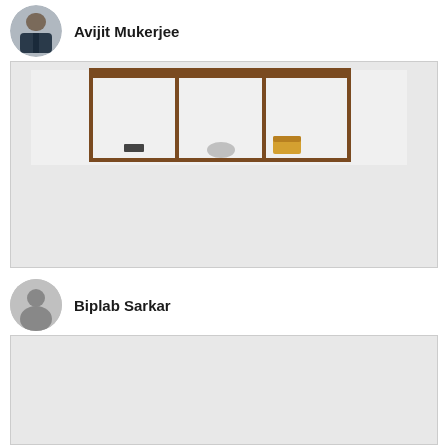[Figure (photo): Profile photo of Avijit Mukerjee — man in suit outdoors]
Avijit Mukerjee
[Figure (photo): Image of a display cabinet with three compartments containing small objects on a light background]
[Figure (illustration): Generic silhouette profile avatar for Biplab Sarkar]
Biplab Sarkar
[Figure (photo): Light gray empty image placeholder for Biplab Sarkar post]